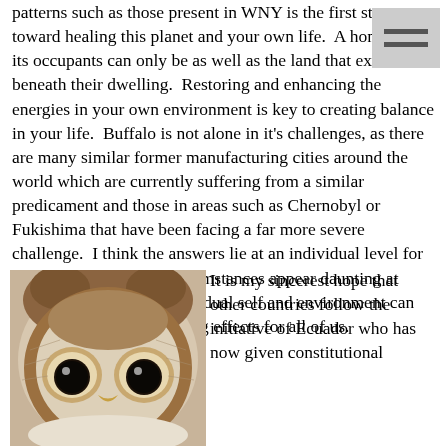patterns such as those present in WNY is the first step toward healing this planet and your own life.  A home and its occupants can only be as well as the land that exists beneath their dwelling.  Restoring and enhancing the energies in your own environment is key to creating balance in your life.  Buffalo is not alone in it's challenges, as there are many similar former manufacturing cities around the world which are currently suffering from a similar predicament and those in areas such as Chernobyl or Fukishima that have been facing a far more severe challenge.  I think the answers lie at an individual level for all of us.  Though the circumstances appear daunting at times, focus on one's individual self and environment can ultimately have far reaching effects for all of us.
[Figure (photo): Close-up photograph of an owl's face, showing large dark eyes and brown/white feathers]
It is my sincerest hope that other countries follow the initiative of Ecuador who has now given constitutional